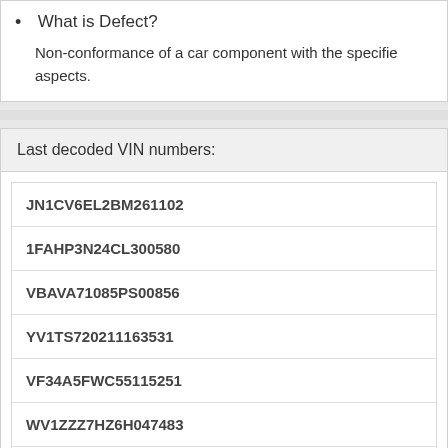What is Defect?
Non-conformance of a car component with the specified aspects.
Last decoded VIN numbers:
JN1CV6EL2BM261102
1FAHP3N24CL300580
VBAVA71085PS00856
YV1TS720211163531
VF34A5FWC55115251
WV1ZZZ7HZ6H047483
W1N0G8EB3NG112044